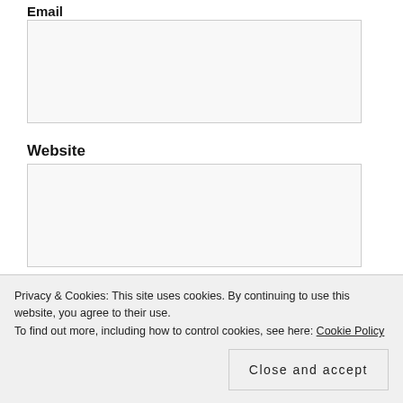Email
[Figure (other): Email text input field (empty)]
Website
[Figure (other): Website text input field (empty)]
POST COMMENT
Notify me of new comments via email.
Notify me of new posts via email.
Privacy & Cookies: This site uses cookies. By continuing to use this website, you agree to their use.
To find out more, including how to control cookies, see here: Cookie Policy
Close and accept